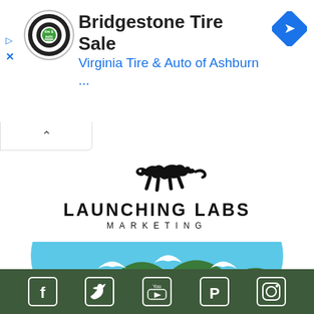[Figure (screenshot): Ad banner: Bridgestone Tire Sale ad for Virginia Tire & Auto of Ashburn with logo, navigation arrow badge, play and close buttons]
[Figure (logo): Launching Labs Marketing logo: jumping panther above bold text LAUNCHING LABS MARKETING]
[Figure (illustration): City skyline illustration with green mountains, snow caps, blue sky semicircle, and dark green building silhouettes, with social media icons bar at bottom (Facebook, Twitter, YouTube, Pinterest, Instagram)]